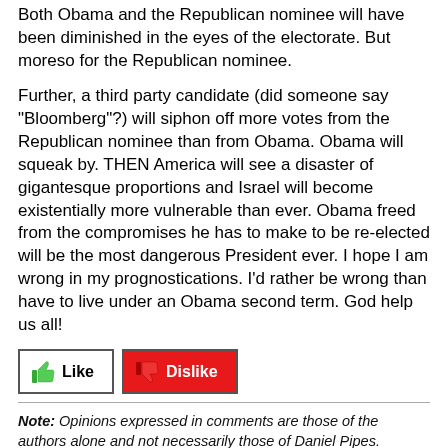Both Obama and the Republican nominee will have been diminished in the eyes of the electorate. But moreso for the Republican nominee.
Further, a third party candidate (did someone say "Bloomberg"?) will siphon off more votes from the Republican nominee than from Obama. Obama will squeak by. THEN America will see a disaster of gigantesque proportions and Israel will become existentially more vulnerable than ever. Obama freed from the compromises he has to make to be re-elected will be the most dangerous President ever. I hope I am wrong in my prognostications. I'd rather be wrong than have to live under an Obama second term. God help us all!
[Figure (other): Like and Dislike buttons]
Note: Opinions expressed in comments are those of the authors alone and not necessarily those of Daniel Pipes. Original writing only, please. Comments are screened and in some cases edited before posting. Reasoned disagreement is welcome but not comments that are scurrilous, off-topic, commercial, disparaging religions, or otherwise inappropriate. For complete regulations, see the "Guidelines for Reader Comments".
Submit a comment on this it...